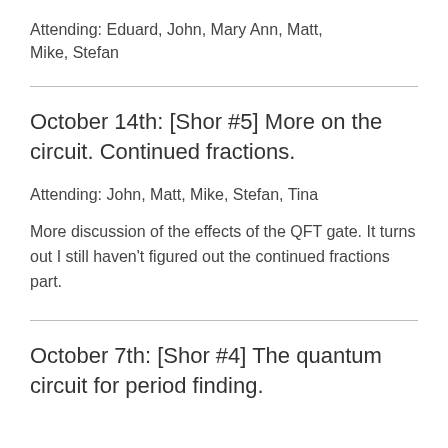Attending: Eduard, John, Mary Ann, Matt, Mike, Stefan
October 14th: [Shor #5] More on the circuit. Continued fractions.
Attending: John, Matt, Mike, Stefan, Tina
More discussion of the effects of the QFT gate. It turns out I still haven't figured out the continued fractions part.
October 7th: [Shor #4] The quantum circuit for period finding.